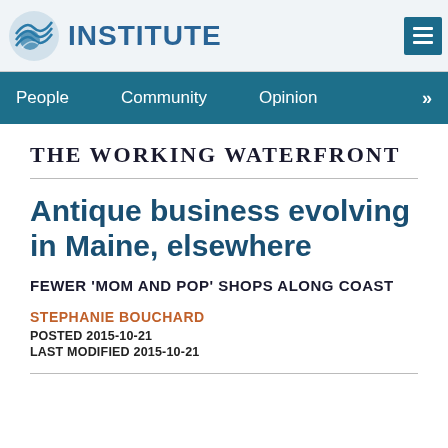INSTITUTE
People   Community   Opinion   »
THE WORKING WATERFRONT
Antique business evolving in Maine, elsewhere
FEWER 'MOM AND POP' SHOPS ALONG COAST
STEPHANIE BOUCHARD
POSTED 2015-10-21
LAST MODIFIED 2015-10-21